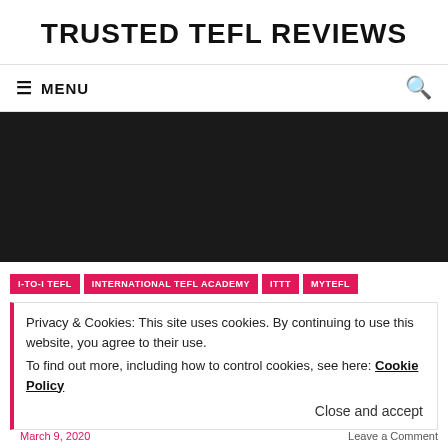TRUSTED TEFL REVIEWS
≡ MENU
[Figure (photo): Dark/black hero image banner area]
I-TO-I TEFL
INTERNATIONAL TEFL ACADEMY
ITTT
MYTEFL
Privacy & Cookies: This site uses cookies. By continuing to use this website, you agree to their use. To find out more, including how to control cookies, see here: Cookie Policy
Close and accept
"A notice to the "TEFL Group"
March 9, 2020
Leave a Comment